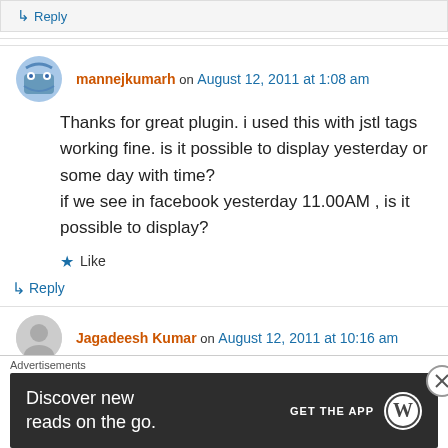↵ Reply
mannejkumarh on August 12, 2011 at 1:08 am
Thanks for great plugin. i used this with jstl tags working fine. is it possible to display yesterday or some day with time?
if we see in facebook yesterday 11.00AM , is it possible to display?
★ Like
↵ Reply
Jagadeesh Kumar on August 12, 2011 at 10:16 am
Advertisements
Discover new reads on the go. GET THE APP